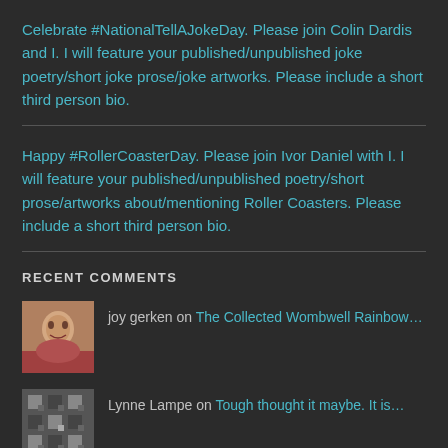Celebrate #NationalTellAJokeDay. Please join Colin Dardis and I. I will feature your published/unpublished joke poetry/short joke prose/joke artworks. Please include a short third person bio.
Happy #RollerCoasterDay. Please join Ivor Daniel with I. I will feature your published/unpublished poetry/short prose/artworks about/mentioning Roller Coasters. Please include a short third person bio.
RECENT COMMENTS
joy gerken on The Collected Wombwell Rainbow...
Lynne Lampe on Tough thought it maybe. It is...